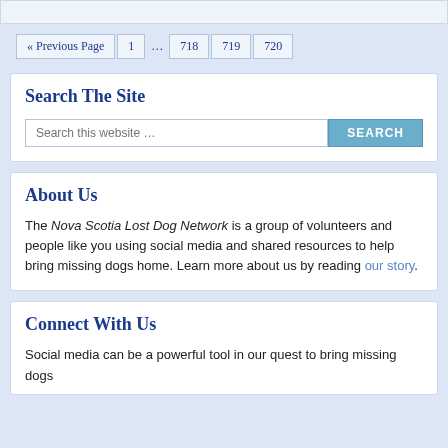« Previous Page  1  …  718  719  720
Search The Site
Search this website … SEARCH
About Us
The Nova Scotia Lost Dog Network is a group of volunteers and people like you using social media and shared resources to help bring missing dogs home. Learn more about us by reading our story.
Connect With Us
Social media can be a powerful tool in our quest to bring missing dogs